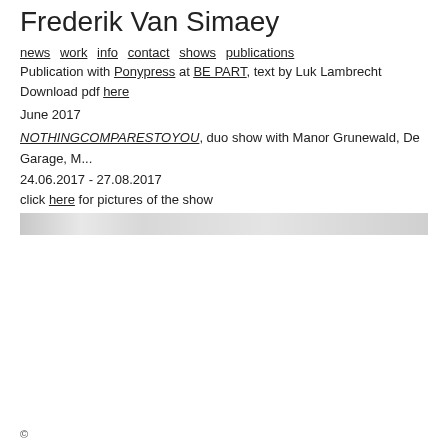Frederik Van Simaey
news  work  info  contact  shows  publications
Publication with Ponypress at BE PART, text by Luk Lambrecht
Download pdf here
June 2017
NOTHINGCOMPARESTOYOU, duo show with Manor Grunewald, De Garage, M...
24.06.2017 - 27.08.2017
click here for pictures of the show
[Figure (photo): Horizontal image strip showing a partial view of an artwork or exhibition photo, light grey tones]
©